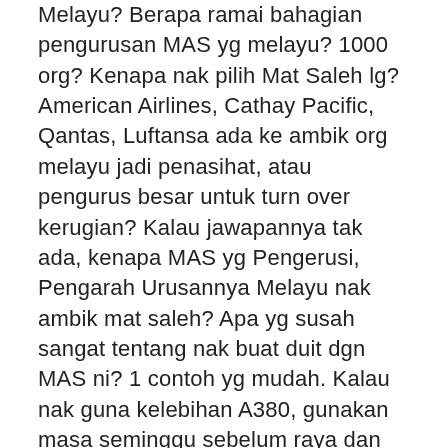Melayu? Berapa ramai bahagian pengurusan MAS yg melayu? 1000 org? Kenapa nak pilih Mat Saleh lg? American Airlines, Cathay Pacific, Qantas, Luftansa ada ke ambik org melayu jadi penasihat, atau pengurus besar untuk turn over kerugian? Kalau jawapannya tak ada, kenapa MAS yg Pengerusi, Pengarah Urusannya Melayu nak ambik mat saleh? Apa yg susah sangat tentang nak buat duit dgn MAS ni? 1 contoh yg mudah. Kalau nak guna kelebihan A380, gunakan masa seminggu sebelum raya dan selepas raya puasa, raya haji, raya cina, raya india, gawai dari kl ke kuching atau ke kk. Gerenti penuh punya. Yg penting sekali, buang mana2 staf dari AA, ini duri dalam daging